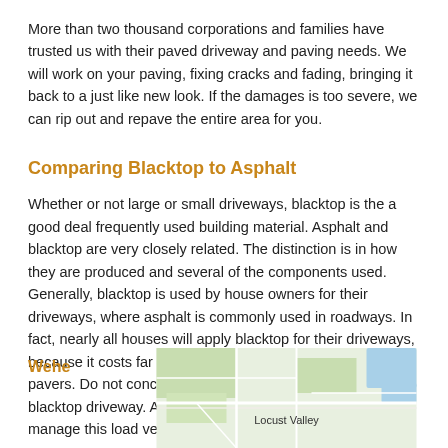More than two thousand corporations and families have trusted us with their paved driveway and paving needs. We will work on your paving, fixing cracks and fading, bringing it back to a just like new look. If the damages is too severe, we can rip out and repave the entire area for you.
Comparing Blacktop to Asphalt
Whether or not large or small driveways, blacktop is the a good deal frequently used building material. Asphalt and blacktop are very closely related. The distinction is in how they are produced and several of the components used. Generally, blacktop is used by house owners for their driveways, where asphalt is commonly used in roadways. In fact, nearly all houses will apply blacktop for their driveways, because it costs far less than cement or natural stone pavers. Do not concern yourself with “over using” your blacktop driveway. A quality Paved driveway is made to manage this load very easily.
[Figure (map): Partial map showing Locust Valley area with roads and blue water areas visible]
Wehe